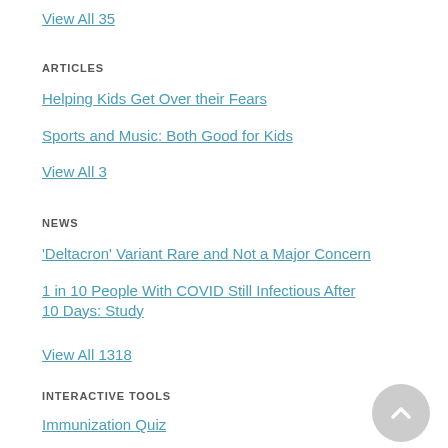View All 35
ARTICLES
Helping Kids Get Over their Fears
Sports and Music: Both Good for Kids
View All 3
NEWS
'Deltacron' Variant Rare and Not a Major Concern
1 in 10 People With COVID Still Infectious After 10 Days: Study
View All 1318
INTERACTIVE TOOLS
Immunization Quiz
Vaccine Quiz